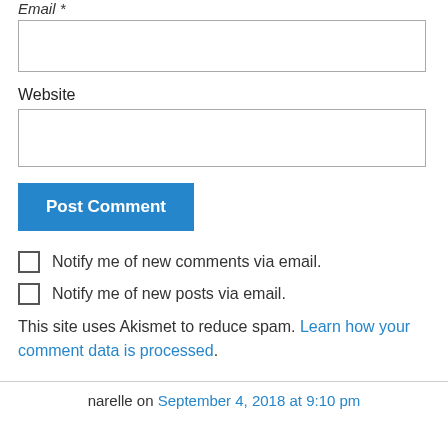Email *
Website
Post Comment
Notify me of new comments via email.
Notify me of new posts via email.
This site uses Akismet to reduce spam. Learn how your comment data is processed.
narelle on September 4, 2018 at 9:10 pm